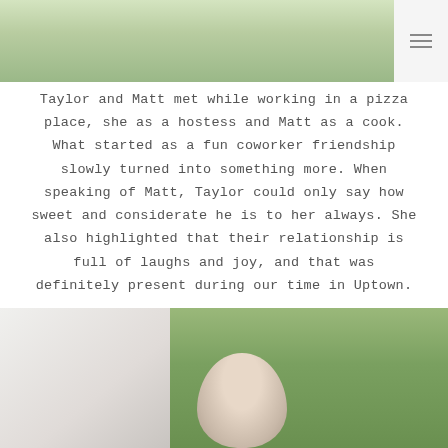[Figure (photo): Top photo showing outdoor scene with green grass, people in background, split into two panels; hamburger menu icon in top right corner]
Taylor and Matt met while working in a pizza place, she as a hostess and Matt as a cook. What started as a fun coworker friendship slowly turned into something more. When speaking of Matt, Taylor could only say how sweet and considerate he is to her always. She also highlighted that their relationship is full of laughs and joy, and that was definitely present during our time in Uptown.
[Figure (photo): Bottom photo showing a couple outdoors with green foliage background, man with short hair visible from shoulders up in right portion, white/light colored building or wall visible on left side]